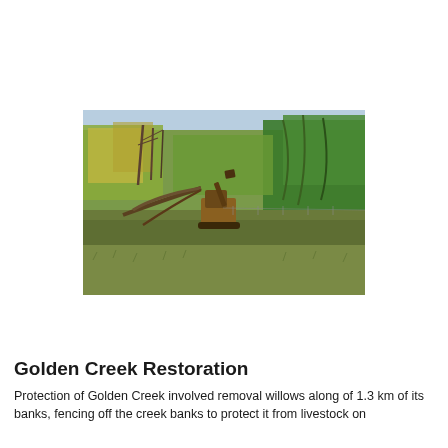[Figure (photo): A heavy machinery excavator or skid-steer loader working among willow trees and dense vegetation along a creek bank, clearing trees. The scene shows autumn/spring coloured trees with yellows and greens, open grassland in the foreground, and fencing visible in the background.]
Golden Creek Restoration
Protection of Golden Creek involved removal willows along of 1.3 km of its banks, fencing off the creek banks to protect it from livestock on